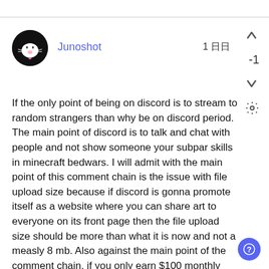[Figure (illustration): Circular black avatar with a white cartoon cat character]
Junoshot
1 日日
-1
If the only point of being on discord is to stream to random strangers than why be on discord period. The main point of discord is to talk and chat with people and not show someone your subpar skills in minecraft bedwars. I will admit with the main point of this comment chain is the issue with file upload size because if discord is gonna promote itself as a website where you can share art to everyone on its front page then the file upload size should be more than what it is now and not a measly 8 mb. Also against the main point of the comment chain, if you only earn $100 monthly than you need to find a job and stop living off of the allowance your parents are giving you for doing chores. Over all both sides